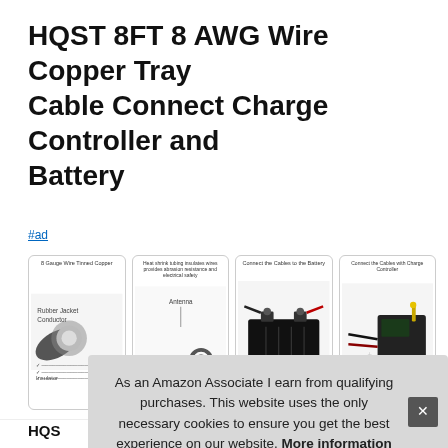HQST 8FT 8 AWG Wire Copper Tray Cable Connect Charge Controller and Battery
#ad
[Figure (infographic): Four product illustration panels: 1) 8 Gauge Wire Tinned Copper cross-section diagram, 2) Heat shrink tubing insulates wires provides abrasion resistance and electrical safety, 3) Connect the Cables to the Battery (showing battery), 4) Connect the Cables with Charge Controller (showing solar charge controller)]
HQST
As an Amazon Associate I earn from qualifying purchases. This website uses the only necessary cookies to ensure you get the best experience on our website. More information
More information